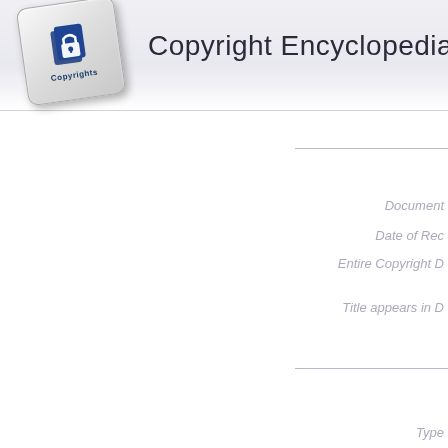[Figure (logo): Copyright Encyclopedia logo with a keyboard key featuring a padlock icon and the word 'Copyrights']
Copyright Encyclopedia
Document
Date of Re[cord]
Entire Copyright D[uration]
Title appears in D[atabase]
Type